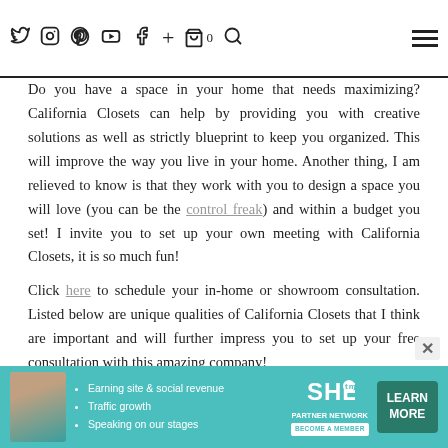Navigation bar with social icons (Twitter, Instagram, Pinterest, YouTube, Facebook, Plus, Cart 0, Search) and hamburger menu
Do you have a space in your home that needs maximizing? California Closets can help by providing you with creative solutions as well as strictly blueprint to keep you organized. This will improve the way you live in your home. Another thing, I am relieved to know is that they work with you to design a space you will love (you can be the control freak) and within a budget you set! I invite you to set up your own meeting with California Closets, it is so much fun!
Click here to schedule your in-home or showroom consultation. Listed below are unique qualities of California Closets that I think are important and will further impress you to set up your free consultation with this amazing company!
Here is what you need to know:
California Closets provides custom organizational plans to help you enjoy your home.
Their area of expertise is closet organizational solutions but they also offer more (organization tips from #mariekondoxcaclosets)!
Other areas in your home such as your kitchen pantry, media cen…
[Figure (infographic): SHE Media Partner Network advertisement banner at the bottom of the page. Contains woman photo, bullet points about earning site & social revenue, traffic growth, speaking on our stages, SHE Partner Network logo, become a member badge, and a teal Learn More button.]